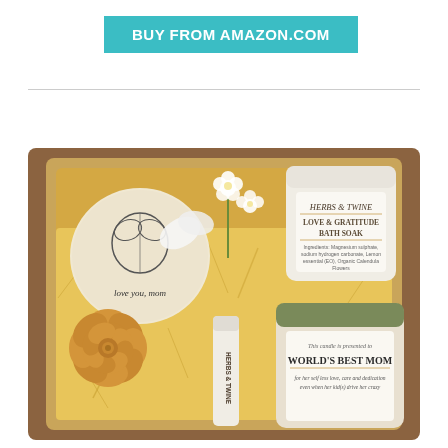[Figure (other): Teal/cyan rectangular button with white bold uppercase text reading 'BUY FROM AMAZON.COM']
[Figure (photo): A gift box photographed from above containing: a bath bomb wrapped in paper stamped with a botanical illustration and text 'love you mom', white flowers, a jar of 'Herbs & Twine Love & Gratitude Bath Soak', a beeswax rose-shaped soap, a lip balm tube labeled 'Herbs & Twine', and a candle jar reading 'This candle is presented to WORLD'S BEST MOM for her self less love, care and dedication even when her kid(s) drive her crazy'. The box is filled with gold/yellow shredded paper filler.]